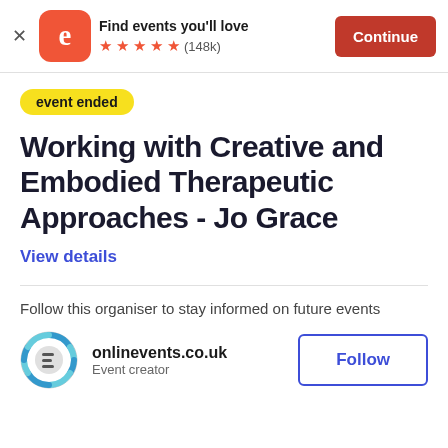[Figure (logo): Eventbrite app banner with orange logo, 5-star rating (148k reviews), and Continue button]
event ended
Working with Creative and Embodied Therapeutic Approaches - Jo Grace
View details
Follow this organiser to stay informed on future events
[Figure (logo): onlinevents.co.uk circular logo with gear/arrows icon]
onlinevents.co.uk
Event creator
Follow